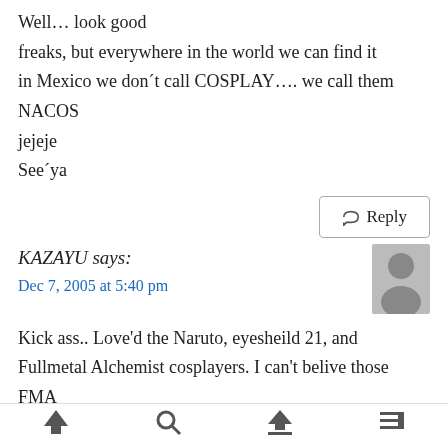Well… look good
freaks, but everywhere in the world we can find it
in Mexico we don´t call COSPLAY…. we call them NACOS
jejeje
See´ya
Reply
KAZAYU says:
Dec 7, 2005 at 5:40 pm
Kick ass.. Love'd the Naruto, eyesheild 21, and Fullmetal Alchemist cosplayers. I can't belive those FMA folks got an actual old guy to be Pride. Dang there so cool..
Reply